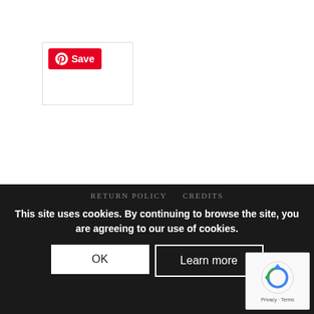[Figure (logo): Pinterest Save button widget with red background, Pinterest logo and 'Save' text]
STOCKISTS    DISCLAIMER
TERMS AND CONDITIONS    PRIVACY POLICY
RETURN POLICY    CREDITS
This site uses cookies. By continuing to browse the site, you are agreeing to our use of cookies.
OK
Learn more
[Figure (logo): reCAPTCHA logo with Privacy and Terms text]